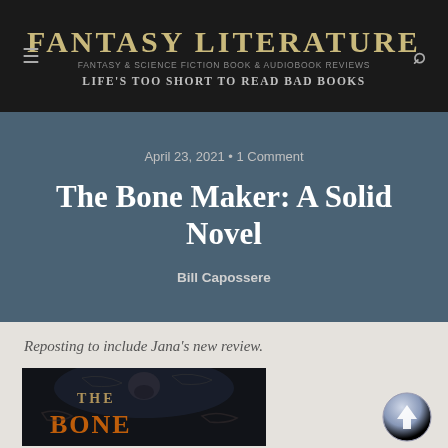Fantasy Literature — Fantasy & Science Fiction Book & Audiobook Reviews — Life's too short to Read Bad Books
April 23, 2021 • 1 Comment
The Bone Maker: A Solid Novel
Bill Capossere
Reposting to include Jana's new review.
[Figure (photo): Book cover of The Bone Maker showing dark background with orange stylized text reading THE BONE (partially visible), skull imagery and decorative flourishes]